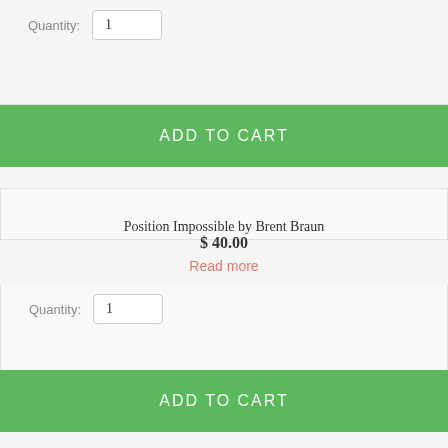Quantity: 1
ADD TO CART
Position Impossible by Brent Braun
$ 40.00
Read more
Quantity: 1
ADD TO CART